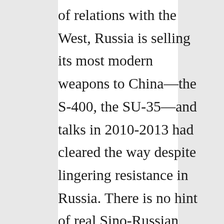of relations with the West, Russia is selling its most modern weapons to China—the S-400, the SU-35—and talks in 2010-2013 had cleared the way despite lingering resistance in Russia. There is no hint of real Sino-Russian difficulties.
When Modi visited Russia in December, agreements